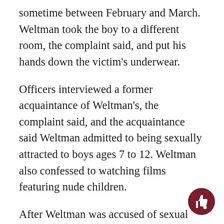sometime between February and March. Weltman took the boy to a different room, the complaint said, and put his hands down the victim's underwear.
Officers interviewed a former acquaintance of Weltman's, the complaint said, and the acquaintance said Weltman admitted to being sexually attracted to boys ages 7 to 12. Weltman also confessed to watching films featuring nude children.
After Weltman was accused of sexual abuse, Matthew Berger, vice president of communications for Hllel International, confirmed in an email to The Daily Iowan that Weltman...